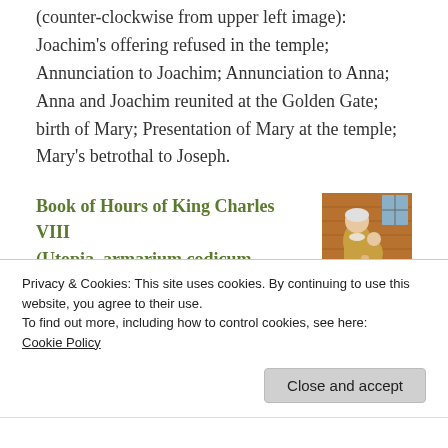(counter-clockwise from upper left image): Joachim's offering refused in the temple; Annunciation to Joachim; Annunciation to Anna; Anna and Joachim reunited at the Golden Gate; birth of Mary; Presentation of Mary at the temple; Mary's betrothal to Joseph.
Book of Hours of King Charles VIII (Utopia, armarium codicum bibliophilorum, Cod. 111), c.1488
[Figure (photo): Medieval manuscript illumination showing an elderly man with white hair and a child, standing in an architectural setting with warm orange/brown tones]
Privacy & Cookies: This site uses cookies. By continuing to use this website, you agree to their use.
To find out more, including how to control cookies, see here: Cookie Policy